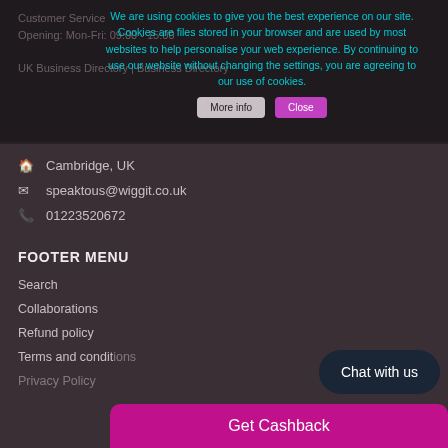Customer Service
Opening: Mon-Fri: 09:00 - 15:00
UK Business Directory | Business Directory
We are using cookies to give you the best experience on our site. Cookies are files stored in your browser and are used by most websites to help personalise your web experience. By continuing to use our website without changing the settings, you are agreeing to our use of cookies.
Cambridge, UK
speaktous@wiggit.co.uk
01223520672
FOOTER MENU
Search
Collaborations
Refund policy
Terms and conditions
Privacy Policy
Chat with us
Get Cashback